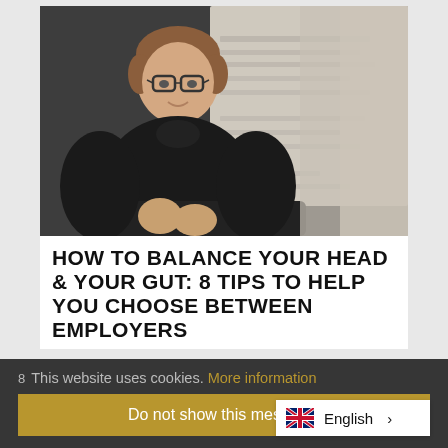[Figure (photo): Young professional man with glasses and dark turtleneck sweater sitting at a table with blurred document/paper in background, smiling at camera]
HOW TO BALANCE YOUR HEAD & YOUR GUT: 8 TIPS TO HELP YOU CHOOSE BETWEEN EMPLOYERS
This website uses cookies. More information
Do not show this message.
English